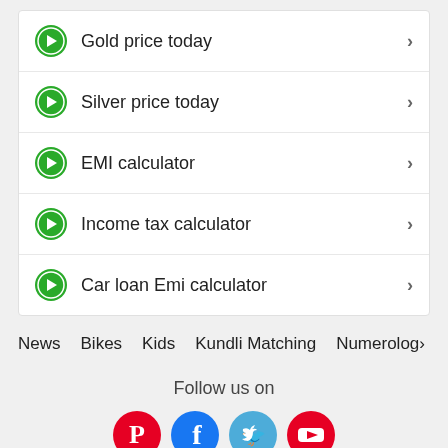Gold price today
Silver price today
EMI calculator
Income tax calculator
Car loan Emi calculator
News   Bikes   Kids   Kundli Matching   Numerolog›
Follow us on
[Figure (infographic): Social media icons: Pinterest (red), Facebook (dark blue), Twitter (light blue), YouTube (red)]
AUGUST HOROSCOPE | ASTROLOGY
RINGTONES | BABY NAMES